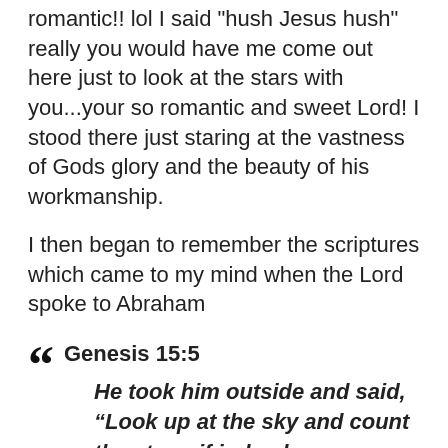romantic!! lol I said "hush Jesus hush" really you would have me come out here just to look at the stars with you...your so romantic and sweet Lord! I stood there just staring at the vastness of Gods glory and the beauty of his workmanship.
I then began to remember the scriptures which came to my mind when the Lord spoke to Abraham
Genesis 15:5
He took him outside and said, “Look up at the sky and count the stars–if indeed you can count them.” Then he said to him, “So shall your offspring be.”